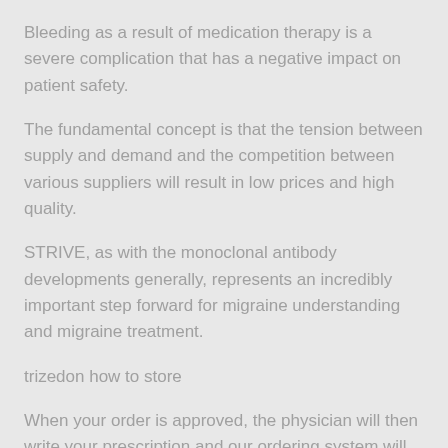Bleeding as a result of medication therapy is a severe complication that has a negative impact on patient safety.
The fundamental concept is that the tension between supply and demand and the competition between various suppliers will result in low prices and high quality.
STRIVE, as with the monoclonal antibody developments generally, represents an incredibly important step forward for migraine understanding and migraine treatment.
trizedon how to store
When your order is approved, the physician will then write your prescription and our ordering system will ensure that it is sent to the pharmacy where it will be filled and shipped.
ABSTRACT: Deep venous thrombosis DVT can be precipitated by